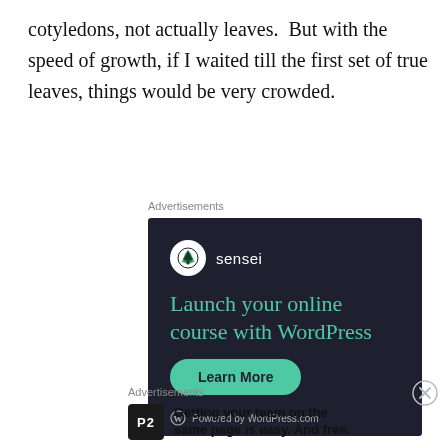cotyledons, not actually leaves.  But with the speed of growth, if I waited till the first set of true leaves, things would be very crowded.
Advertisements
[Figure (other): Sensei advertisement on dark navy background: Sensei logo (white circle with tree icon), tagline 'Launch your online course with WordPress' in teal, 'Learn More' teal button, 'Powered by WordPress.com' at bottom]
[Figure (other): Close/dismiss button (X in circle) for the advertisement]
Advertisements
[Figure (other): P2 advertisement: P2 logo (white text on dark square), bold text 'Getting your team on the same page is easy. And free.']